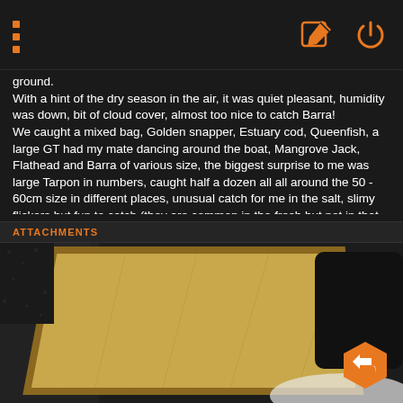Navigation bar with menu dots and edit/power icons
ground.
With a hint of the dry season in the air, it was quiet pleasant, humidity was down, bit of cloud cover, almost too nice to catch Barra!
We caught a mixed bag, Golden snapper, Estuary cod, Queenfish, a large GT had my mate dancing around the boat, Mangrove Jack, Flathead and Barra of various size, the biggest surprise to me was large Tarpon in numbers, caught half a dozen all all around the 50 - 60cm size in different places, unusual catch for me in the salt, slimy flickers but fun to catch (they are common in the fresh but not in that size).
The last fish of the day was a fat 82cm Barra, topped of a great day with a great mate, a few Barra and Mangrove Jack in the esky we headed back to the ramp and caught the edge of a small storm cooling things off nicely.
Only took the one Barra photo, regretting not taking some photos of the big Tarpon....
Cancelled fishing the second day, had enough fish to last a while, cheers.
ATTACHMENTS
[Figure (photo): Photo of a wooden board/chopping board on a dark surface with a white dish partially visible, viewed from above at an angle.]